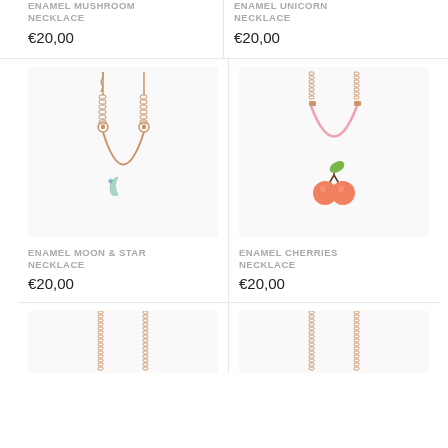ENAMEL MUSHROOM NECKLACE
€20,00
ENAMEL UNICORN NECKLACE
€20,00
[Figure (photo): Enamel Moon & Star Necklace with gold chain, mint green moon charm and blue star charm]
ENAMEL MOON & STAR NECKLACE
€20,00
[Figure (photo): Enamel Cherries Necklace with pink cord and orange/coral cherry charm with gold leaf]
ENAMEL CHERRIES NECKLACE
€20,00
[Figure (photo): Partial view of a necklace at bottom of page, left column]
[Figure (photo): Partial view of a necklace at bottom of page, right column]